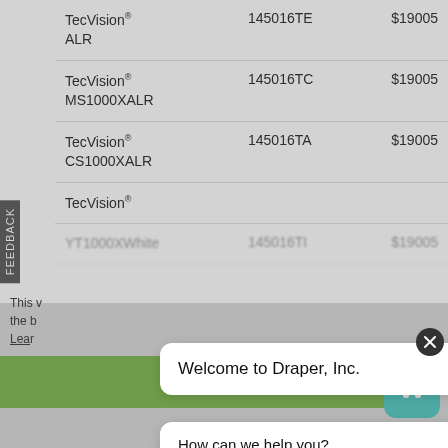| Product | SKU | Price |
| --- | --- | --- |
| TecVision® XH300X ALR | 145016TE | $19005 |
| TecVision® MS1000XALR | 145016TC | $19005 |
| TecVision® CS1000XALR | 145016TA | $19005 |
| TecVision® YT1000XWhite | 145016TI | $19005 |
Welcome to Draper, Inc.
How can we help you?
AV Products
Gymnasium Equipment
Shading
Got it!
Matt White